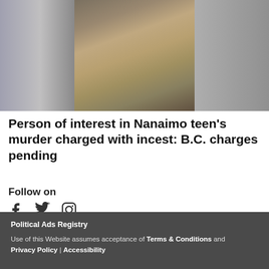[Figure (photo): Close-up photo of an older man with glasses and a grey beard, blurred background]
Person of interest in Nanaimo teen's murder charged with incest: B.C. charges pending
Follow on
[Figure (infographic): Social media icons: Facebook, Twitter, Instagram]
Political Ads Registry
Use of this Website assumes acceptance of Terms & Conditions and Privacy Policy | Accessibility